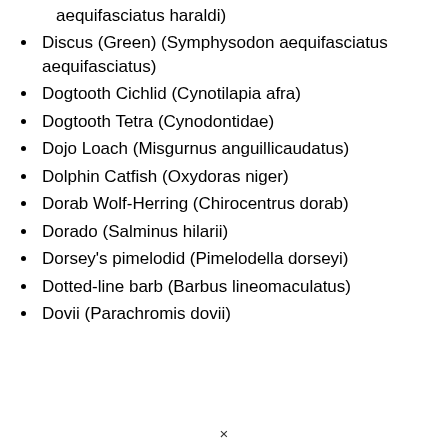aequifasciatus haraldi)
Discus (Green) (Symphysodon aequifasciatus aequifasciatus)
Dogtooth Cichlid (Cynotilapia afra)
Dogtooth Tetra (Cynodontidae)
Dojo Loach (Misgurnus anguillicaudatus)
Dolphin Catfish (Oxydoras niger)
Dorab Wolf-Herring (Chirocentrus dorab)
Dorado (Salminus hilarii)
Dorsey's pimelodid (Pimelodella dorseyi)
Dotted-line barb (Barbus lineomaculatus)
Dovii (Parachromis dovii)
×